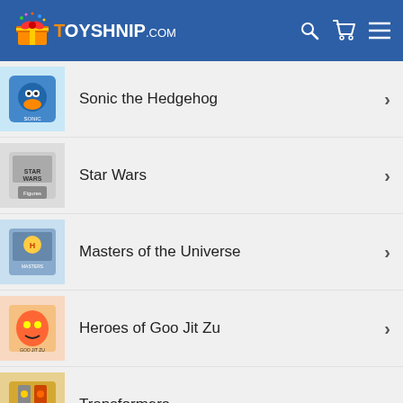TOYSHNIP.COM
Sonic the Hedgehog
Star Wars
Masters of the Universe
Heroes of Goo Jit Zu
Transformers
Power Rangers
Mego
FiGPiN Checklist
The Vault